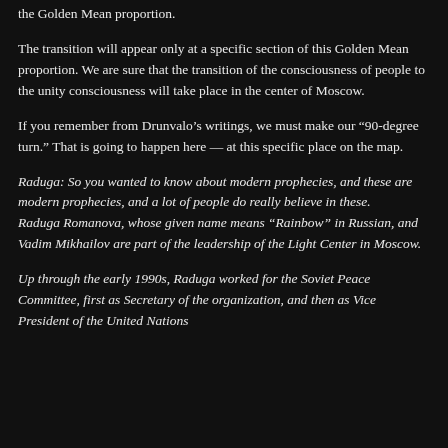the Golden Mean proportion.
The transition will appear only at a specific section of this Golden Mean proportion. We are sure that the transition of the consciousness of people to the unity consciousness will take place in the center of Moscow.
If you remember from Drunvalo’s writings, we must make our “90-degree turn.” That is going to happen here — at this specific place on the map.
Raduga: So you wanted to know about modern prophecies, and these are modern prophecies, and a lot of people do really believe in these.
Raduga Romanova, whose given name means “Rainbow” in Russian, and Vadim Mikhailov are part of the leadership of the Light Center in Moscow.
Up through the early 1990s, Raduga worked for the Soviet Peace Committee, first as Secretary of the organization, and then as Vice President of the United Nations